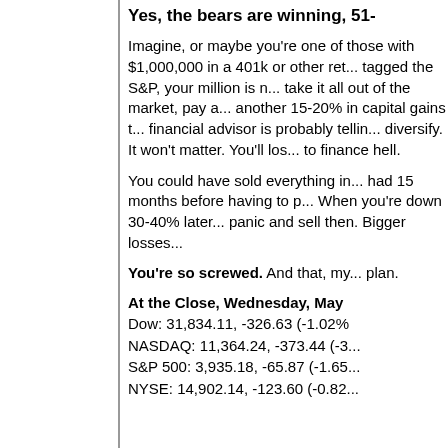Yes, the bears are winning, 51-
Imagine, or maybe you're one of those with $1,000,000 in a 401k or other retirement. If you tagged the S&P, your million is now... You can't take it all out of the market, pay another 15-20% in capital gains t... Your financial advisor is probably telling you to diversify. It won't matter. You'll lose... to finance hell.
You could have sold everything in... had 15 months before having to p... When you're down 30-40% later... panic and sell then. Bigger losses...
You're so screwed. And that, my... plan.
At the Close, Wednesday, May
Dow: 31,834.11, -326.63 (-1.02%
NASDAQ: 11,364.24, -373.44 (-3...
S&P 500: 3,935.18, -65.87 (-1.65...
NYSE: 14,902.14, -123.60 (-0.82...